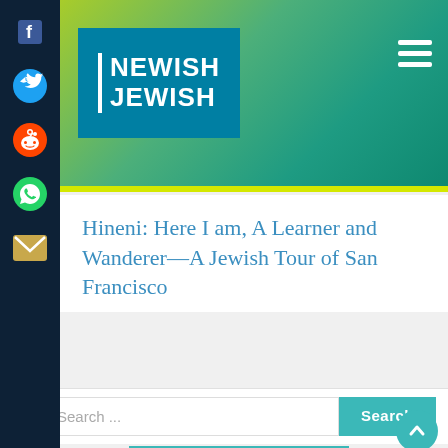[Figure (logo): Newish Jewish logo - white text on teal background with white vertical bar]
Hineni: Here I am, A Learner and Wanderer—A Jewish Tour of San Francisco
Search ...
[Figure (logo): moderntribe logo with Star of David replacing 'o', followed by text 'Cool']